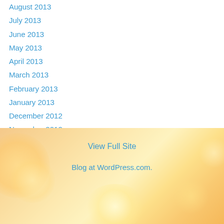August 2013
July 2013
June 2013
May 2013
April 2013
March 2013
February 2013
January 2013
December 2012
November 2012
October 2012
September 2012
View Full Site
Blog at WordPress.com.